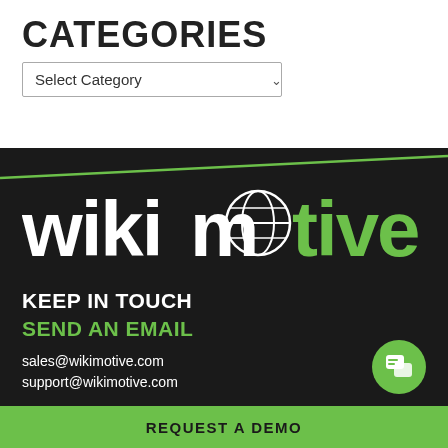CATEGORIES
Select Category
[Figure (logo): wikimotive logo in white and green on dark background]
KEEP IN TOUCH
SEND AN EMAIL
sales@wikimotive.com
support@wikimotive.com
CALL US
REQUEST A DEMO